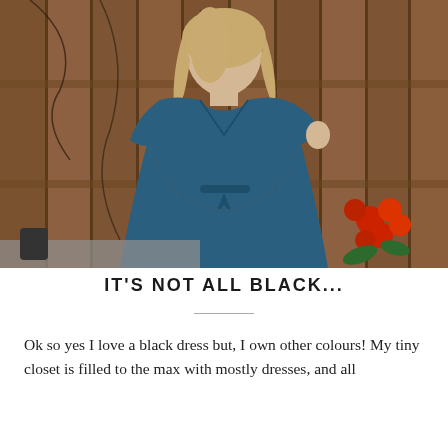[Figure (photo): A woman with blonde hair wearing a dark navy/teal long-sleeved maxi dress with a tie waist, standing in front of a wooden fence. Red roses are visible in the lower right background.]
IT'S NOT ALL BLACK...
Ok so yes I love a black dress but, I own other colours! My tiny closet is filled to the max with mostly dresses, and all